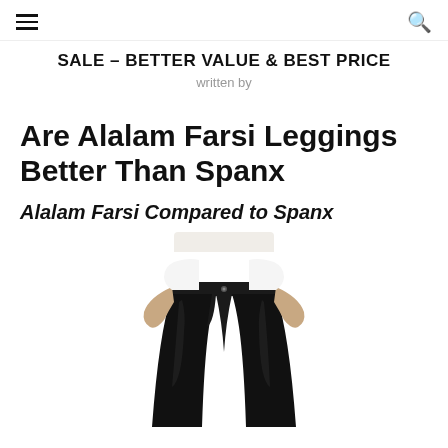≡  🔍
SALE – BETTER VALUE & BEST PRICE
written by
Are Alalam Farsi Leggings Better Than Spanx
Alalam Farsi Compared to Spanx
[Figure (photo): A woman wearing black high-waisted leggings and a white top, shown from waist to knee level. The leggings appear form-fitting with a small button detail at the waistband.]